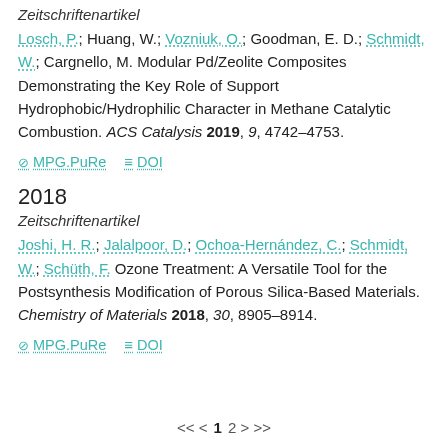Zeitschriftenartikel
Losch, P.; Huang, W.; Vozniuk, O.; Goodman, E. D.; Schmidt, W.; Cargnello, M. Modular Pd/Zeolite Composites Demonstrating the Key Role of Support Hydrophobic/Hydrophilic Character in Methane Catalytic Combustion. ACS Catalysis 2019, 9, 4742–4753.
MPG.PuRe   DOI
2018
Zeitschriftenartikel
Joshi, H. R.; Jalalpoor, D.; Ochoa-Hernández, C.; Schmidt, W.; Schüth, F. Ozone Treatment: A Versatile Tool for the Postsynthesis Modification of Porous Silica-Based Materials. Chemistry of Materials 2018, 30, 8905–8914.
MPG.PuRe   DOI
<< < 1 2 > >>